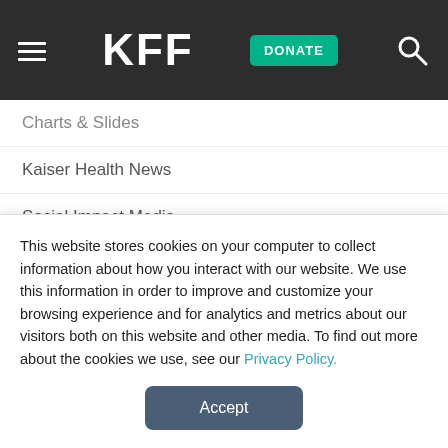KFF
Charts & Slides
Kaiser Health News
Social Impact Media
Peterson-KFF Health System Tracker
NEWSROOM
News Releases
Events
This website stores cookies on your computer to collect information about how you interact with our website. We use this information in order to improve and customize your browsing experience and for analytics and metrics about our visitors both on this website and other media. To find out more about the cookies we use, see our Privacy Policy.